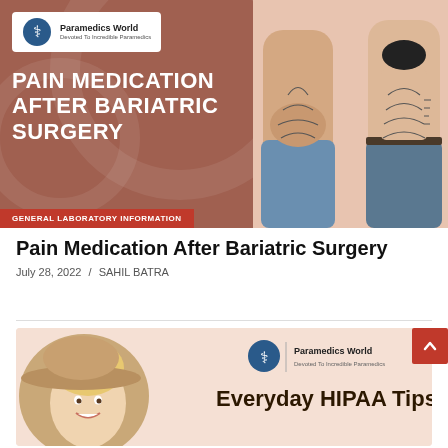[Figure (illustration): Banner image for article: Pain Medication After Bariatric Surgery. Left half is brownish-red background with Paramedics World logo, large white bold title text, and a red tag reading GENERAL LABORATORY INFORMATION. Right half shows two people with surgical markings on their torsos.]
Pain Medication After Bariatric Surgery
July 28, 2022 / SAHIL BATRA
[Figure (illustration): Partial banner image for Everyday HIPAA Tips article. Left side shows a smiling blonde woman in a hat. Right side shows Paramedics World logo and the beginning of the title 'Everyday HIPAA Tips'.]